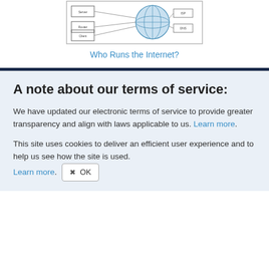[Figure (schematic): A diagram showing an internet/network schematic with boxes, lines, and a globe graphic in blue tones.]
Who Runs the Internet?
A note about our terms of service:
We have updated our electronic terms of service to provide greater transparency and align with laws applicable to us. Learn more.
This site uses cookies to deliver an efficient user experience and to help us see how the site is used. Learn more. OK